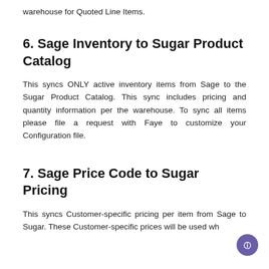warehouse for Quoted Line Items.
6. Sage Inventory to Sugar Product Catalog
This syncs ONLY active inventory items from Sage to the Sugar Product Catalog. This sync includes pricing and quantity information per the warehouse. To sync all items please file a request with Faye to customize your Configuration file.
7. Sage Price Code to Sugar Pricing
This syncs Customer-specific pricing per item from Sage to Sugar. These Customer-specific prices will be used wh…